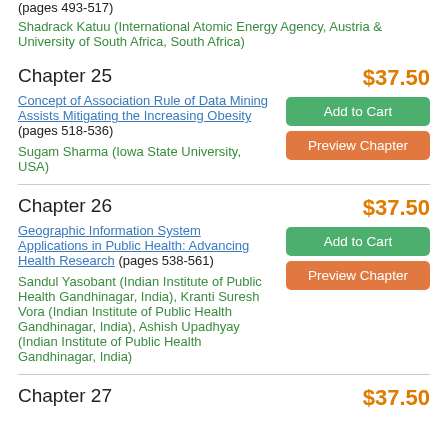(pages 493-517)
Shadrack Katuu (International Atomic Energy Agency, Austria & University of South Africa, South Africa)
Chapter 25
$37.50
Concept of Association Rule of Data Mining Assists Mitigating the Increasing Obesity (pages 518-536)
Sugam Sharma (Iowa State University, USA)
Chapter 26
$37.50
Geographic Information System Applications in Public Health: Advancing Health Research (pages 538-561)
Sandul Yasobant (Indian Institute of Public Health Gandhinagar, India), Kranti Suresh Vora (Indian Institute of Public Health Gandhinagar, India), Ashish Upadhyay (Indian Institute of Public Health Gandhinagar, India)
Chapter 27
$37.50